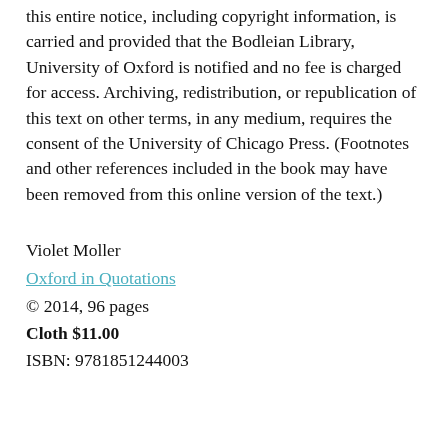this entire notice, including copyright information, is carried and provided that the Bodleian Library, University of Oxford is notified and no fee is charged for access. Archiving, redistribution, or republication of this text on other terms, in any medium, requires the consent of the University of Chicago Press. (Footnotes and other references included in the book may have been removed from this online version of the text.)
Violet Moller
Oxford in Quotations
© 2014, 96 pages
Cloth $11.00
ISBN: 9781851244003